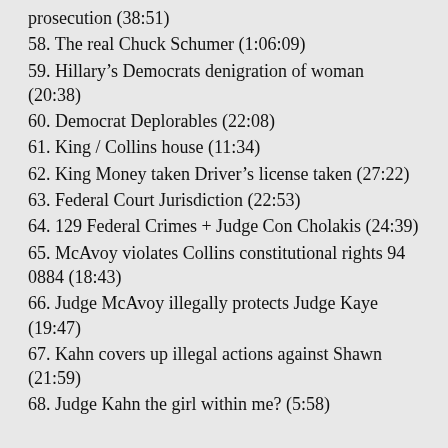prosecution (38:51)
58. The real Chuck Schumer (1:06:09)
59. Hillary's Democrats denigration of woman (20:38)
60. Democrat Deplorables (22:08)
61. King / Collins house (11:34)
62. King Money taken Driver's license taken (27:22)
63. Federal Court Jurisdiction (22:53)
64. 129 Federal Crimes + Judge Con Cholakis (24:39)
65. McAvoy violates Collins constitutional rights 94 0884 (18:43)
66. Judge McAvoy illegally protects Judge Kaye (19:47)
67. Kahn covers up illegal actions against Shawn (21:59)
68. Judge Kahn the girl within me? (5:58)